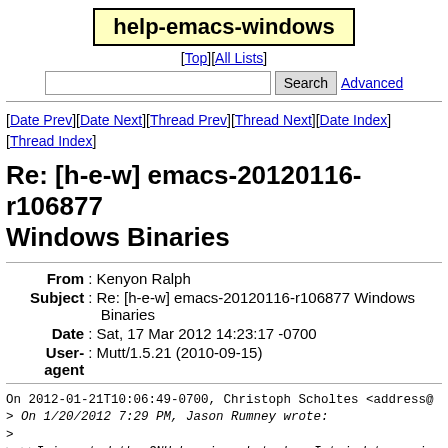help-emacs-windows
[Top][All Lists]
Search  Advanced
[Date Prev][Date Next][Thread Prev][Thread Next][Date Index][Thread Index]
Re: [h-e-w] emacs-20120116-r106877 Windows Binaries
| Field | Value |
| --- | --- |
| From | Kenyon Ralph |
| Subject | Re: [h-e-w] emacs-20120116-r106877 Windows Binaries |
| Date | Sat, 17 Mar 2012 14:23:17 -0700 |
| User-agent | Mutt/1.5.21 (2010-09-15) |
On 2012-01-21T10:06:49-0700, Christoph Scholtes <address@
> On 1/20/2012 7:29 PM, Jason Rumney wrote:
>
> >>I imported the GNU keyring, but when I tried to veri